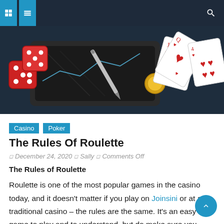Navigation bar with icons
[Figure (photo): Casino themed hero image showing red dice, playing cards (hearts), a gold coin, and a dark smartphone/tablet surface from an overhead angle]
Casino  Poker
The Rules Of Roulette
December 24, 2020  Sally  Comments Off
The Rules of Roulette
Roulette is one of the most popular games in the casino today, and it doesn't matter if you play on Joinsini or at a traditional casino – the rules are the same. It's an easy game to play and to understand, but do make sure you have a thorough understanding of the rules and bets before you decide to take part.